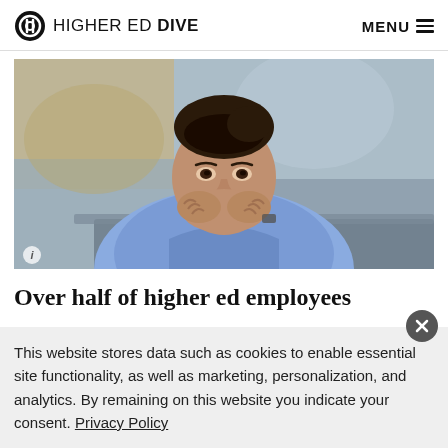HIGHER ED DIVE   MENU
[Figure (photo): Woman in blue shirt leaning forward with hands clasped, looking at a computer screen with a focused/concerned expression, blurred office background]
Over half of higher ed employees
This website stores data such as cookies to enable essential site functionality, as well as marketing, personalization, and analytics. By remaining on this website you indicate your consent. Privacy Policy